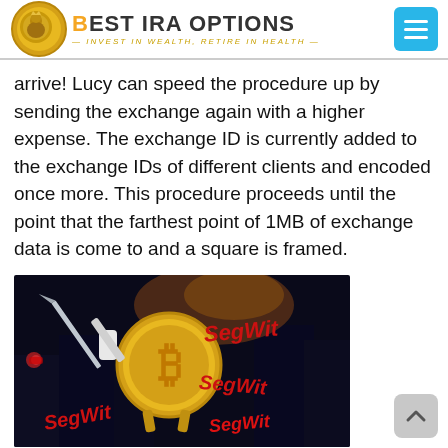BEST IRA OPTIONS — INVEST IN WEALTH, RETIRE IN HEALTH
arrive! Lucy can speed the procedure up by sending the exchange again with a higher expense. The exchange ID is currently added to the exchange IDs of different clients and encoded once more. This procedure proceeds until the point that the farthest point of 1MB of exchange data is come to and a square is framed.
[Figure (illustration): Illustrated Bitcoin coin character wielding a sword with SegWit text appearing multiple times in the background, set against a city night scene.]